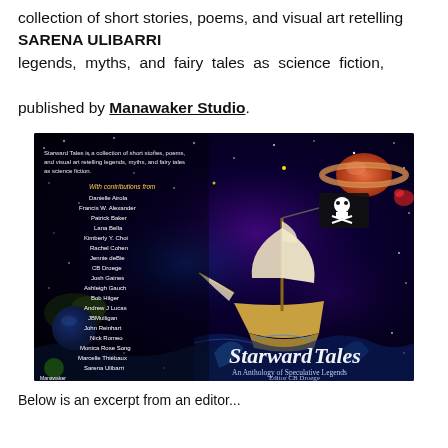collection of short stories, poems, and visual art retelling SARENA ULIBARRI legends, myths, and fairy tales as science fiction, published by Manawaker Studio.
[Figure (photo): Book cover of 'Starward Tales: An Anthology of Speculative Legends, Editor CB Droege' showing a pirate ship sailing through a colorful space scene with planets, stars, and nebulae. The left side lists contributors including Danielle Airola, Francis W. Alexander, Patrick Baker, Lana Bella, Kimberly Y. Choi, Rachel Cohen, Jennie deBie, CB Droege, Josh Gaines, Ashleigh Gauch, Bob Hilger, Andrew J Lucas, JBMulligan, John Reinhart, Nick Romeo, Monica Rose Song, Marcelle Thiébaux, Sarena Ulibarri.]
Below is an excerpt from an editor...